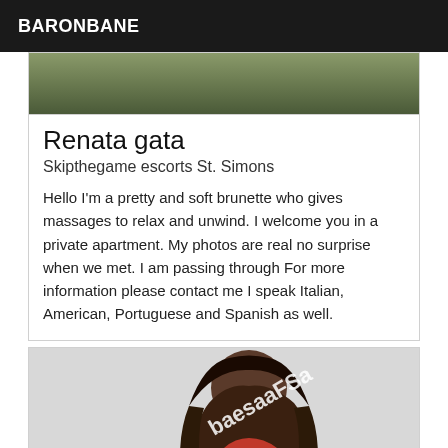BARONBANE
[Figure (photo): Partial photo visible at top of card, appears to be a person near foliage]
Renata gata
Skipthegame escorts St. Simons
Hello I'm a pretty and soft brunette who gives massages to relax and unwind. I welcome you in a private apartment. My photos are real no surprise when we met. I am passing through For more information please contact me I speak Italian, American, Portuguese and Spanish as well.
[Figure (photo): Photo of a woman with long dark hair wearing a red top, with a watermark text overlay]